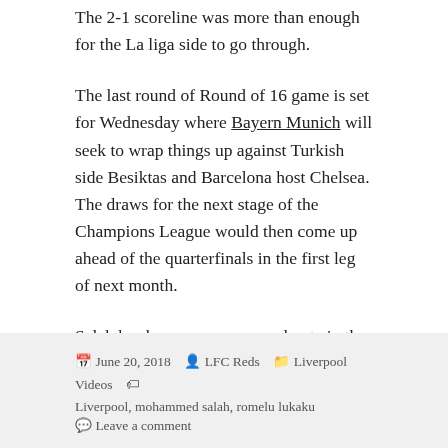The 2-1 scoreline was more than enough for the La liga side to go through.
The last round of Round of 16 game is set for Wednesday where Bayern Munich will seek to wrap things up against Turkish side Besiktas and Barcelona host Chelsea. The draws for the next stage of the Champions League would then come up ahead of the quarterfinals in the first leg of next month.
Salah has been on a very good note in the league and in the Champions League. However, he was anonymous as United claimed victory on Saturday.
June 20, 2018  LFC Reds  Liverpool Videos  Liverpool, mohammed salah, romelu lukaku  Leave a comment